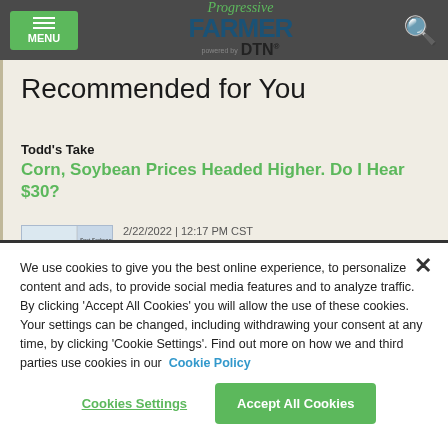Progressive Farmer powered by DTN
Recommended for You
Todd's Take
Corn, Soybean Prices Headed Higher. Do I Hear $30?
2/22/2022 | 12:17 PM CST
As corn and soybean prices press higher
We use cookies to give you the best online experience, to personalize content and ads, to provide social media features and to analyze traffic. By clicking 'Accept All Cookies' you will allow the use of these cookies. Your settings can be changed, including withdrawing your consent at any time, by clicking 'Cookie Settings'. Find out more on how we and third parties use cookies in our Cookie Policy
Cookies Settings
Accept All Cookies